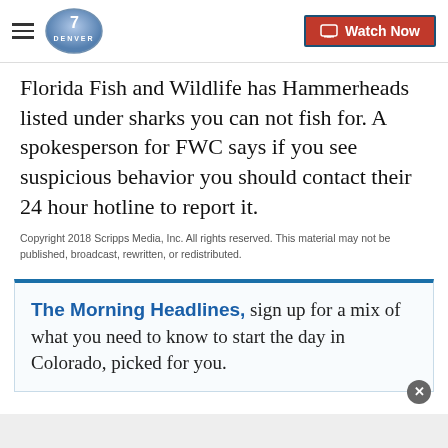Denver7 — Watch Now
Florida Fish and Wildlife has Hammerheads listed under sharks you can not fish for. A spokesperson for FWC says if you see suspicious behavior you should contact their 24 hour hotline to report it.
Copyright 2018 Scripps Media, Inc. All rights reserved. This material may not be published, broadcast, rewritten, or redistributed.
The Morning Headlines, sign up for a mix of what you need to know to start the day in Colorado, picked for you.